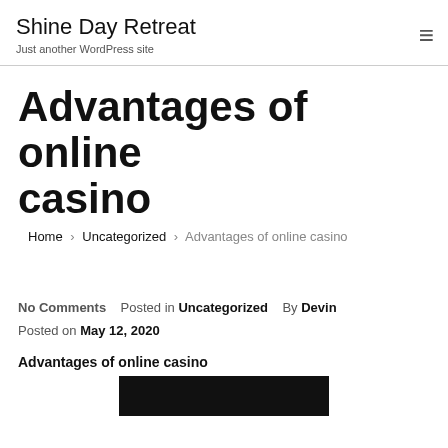Shine Day Retreat
Just another WordPress site
Advantages of online casino
Home › Uncategorized › Advantages of online casino
No Comments   Posted in Uncategorized   By Devin
Posted on May 12, 2020
Advantages of online casino
[Figure (photo): Dark image showing a device, partially visible at bottom of page]